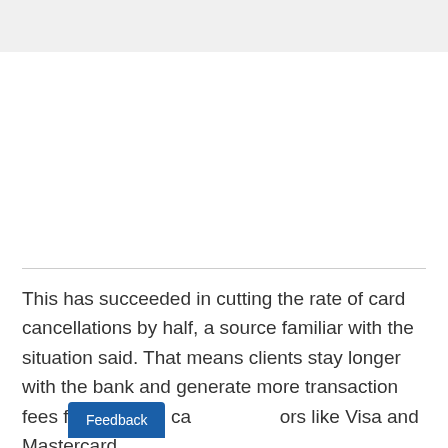This has succeeded in cutting the rate of card cancellations by half, a source familiar with the situation said. That means clients stay longer with the bank and generate more transaction fees for Itau from card processors like Visa and Mastercard.